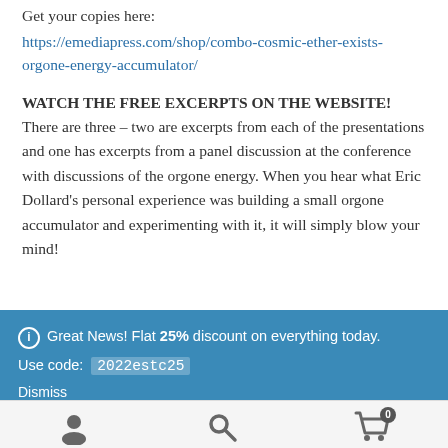Get your copies here:
https://emediapress.com/shop/combo-cosmic-ether-exists-orgone-energy-accumulator/
WATCH THE FREE EXCERPTS ON THE WEBSITE! There are three – two are excerpts from each of the presentations and one has excerpts from a panel discussion at the conference with discussions of the orgone energy. When you hear what Eric Dollard's personal experience was building a small orgone accumulator and experimenting with it, it will simply blow your mind!
Great News! Flat 25% discount on everything today. Use code: 2022estc25 Dismiss
[Figure (infographic): Bottom navigation bar with user/account icon, search icon, and shopping cart icon with badge showing 0]